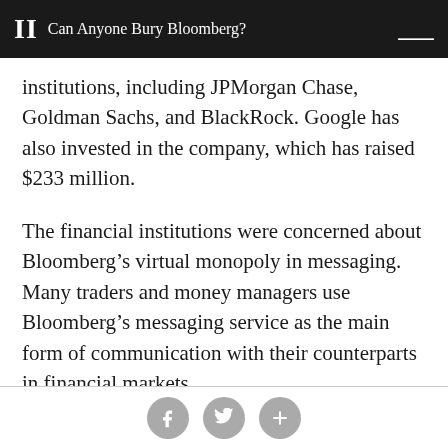Can Anyone Bury Bloomberg?
institutions, including JPMorgan Chase, Goldman Sachs, and BlackRock. Google has also invested in the company, which has raised $233 million.
The financial institutions were concerned about Bloomberg’s virtual monopoly in messaging. Many traders and money managers use Bloomberg’s messaging service as the main form of communication with their counterparts in financial markets.
Goldman in particular was upset with an incident in 2013 when a Bloomberg reporter tracked the terminal
Social share buttons: Facebook, Twitter, Plus